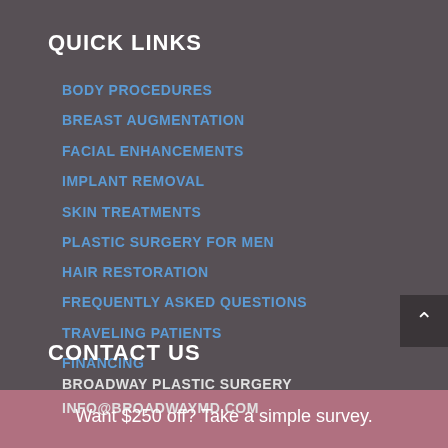QUICK LINKS
BODY PROCEDURES
BREAST AUGMENTATION
FACIAL ENHANCEMENTS
IMPLANT REMOVAL
SKIN TREATMENTS
PLASTIC SURGERY FOR MEN
HAIR RESTORATION
FREQUENTLY ASKED QUESTIONS
TRAVELING PATIENTS
FINANCING
CONTACT US
BROADWAY PLASTIC SURGERY
INFO@BROADWAYMD.COM
Want $250 off? Take a simple survey.